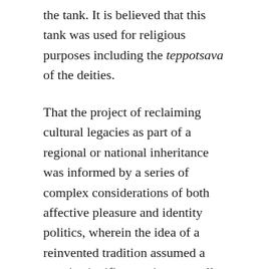the tank. It is believed that this tank was used for religious purposes including the teppotsava of the deities.
That the project of reclaiming cultural legacies as part of a regional or national inheritance was informed by a series of complex considerations of both affective pleasure and identity politics, wherein the idea of a reinvented tradition assumed a certain significance, is now well known.
Another unique feature of this tank is the technique of its construction. Each stone used for the construction has numerals, symbols and Kannada letters on it. For example letters